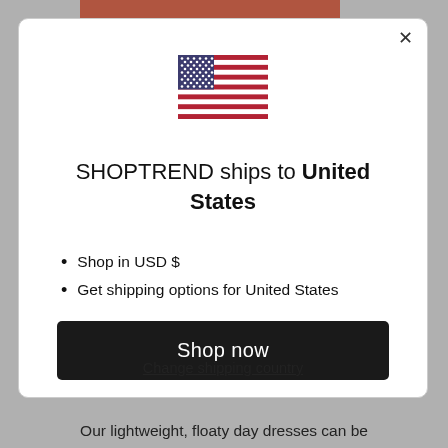[Figure (illustration): US flag icon]
SHOPTREND ships to United States
Shop in USD $
Get shipping options for United States
Shop now
Change shipping country
Our lightweight, floaty day dresses can be